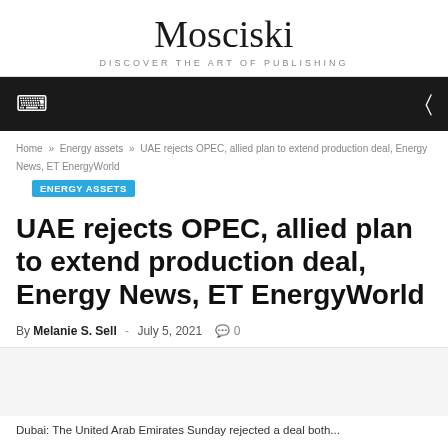Mosciski
DISCOVER THE ART OF PUBLISHING
Home » Energy assets » UAE rejects OPEC, allied plan to extend production deal, Energy News, ET EnergyWorld
ENERGY ASSETS
UAE rejects OPEC, allied plan to extend production deal, Energy News, ET EnergyWorld
By Melanie S. Sell - July 5, 2021 0
Dubai: The United Arab Emirates Sunday rejected a deal both...